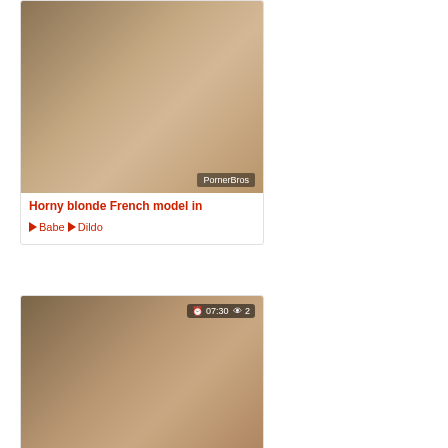[Figure (photo): Video thumbnail showing adult content with PornerBros watermark]
Horny blonde French model in
Babe  Dildo
[Figure (photo): Video thumbnail showing adult content, duration 07:30, 2 views, DPFanatics.com / PornerBros watermark]
Cute French Ho Tiffany Doll
Ass  Big ass  Big Cock  Big Tits  Blowjob  Cum
[Figure (photo): Partial video thumbnail showing adult content, duration 07:31, 2 views]